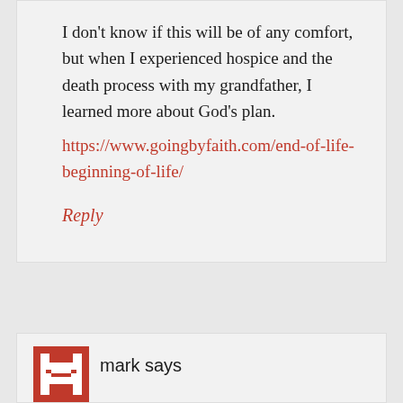I don't know if this will be of any comfort, but when I experienced hospice and the death process with my grandfather, I learned more about God's plan.
https://www.goingbyfaith.com/end-of-life-beginning-of-life/
Reply
mark says